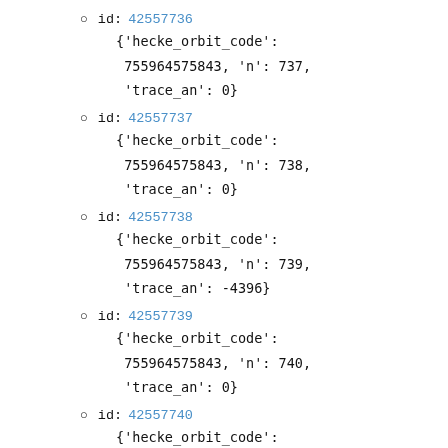id: 42557736 {'hecke_orbit_code': 755964575843, 'n': 737, 'trace_an': 0}
id: 42557737 {'hecke_orbit_code': 755964575843, 'n': 738, 'trace_an': 0}
id: 42557738 {'hecke_orbit_code': 755964575843, 'n': 739, 'trace_an': -4396}
id: 42557739 {'hecke_orbit_code': 755964575843, 'n': 740, 'trace_an': 0}
id: 42557740 {'hecke_orbit_code': 755964575843, 'n': 741, 'trace_an': 0}